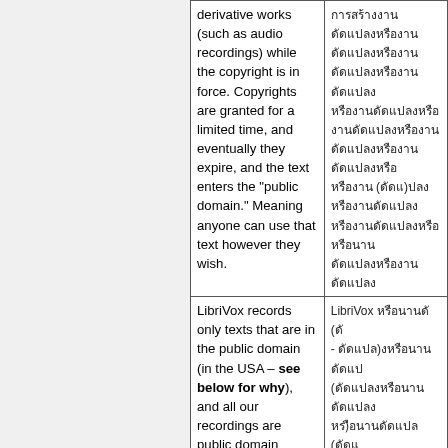| derivative works (such as audio recordings) while the copyright is in force. Copyrights are granted for a limited time, and eventually they expire, and the text enters the "public domain." Meaning anyone can use that text however they wish. | ████████████████████████████████████████████████████████████████████████████████████████████████████████████████████████████████████████████████████████████████████████████████████████████████████████████████████████████████████████████████████████████████ |
| LibriVox records only texts that are in the public domain (in the USA – see below for why), and all our recordings are public domain (definitely in the USA, and maybe in your country as well, see below). This | LibriVox ██████████ (██ - ████████)█████████████ (████████████████████ ██)███████████████ (████ ██)█ |